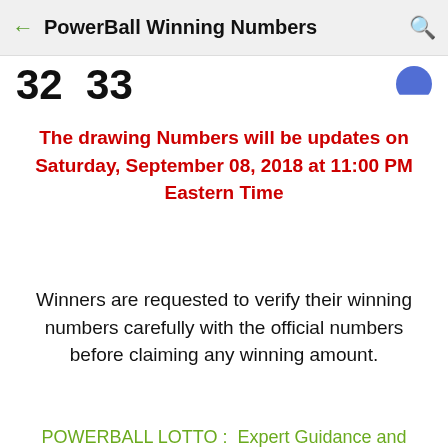PowerBall Winning Numbers
32  33
The drawing Numbers will be updates on Saturday, September 08, 2018 at 11:00 PM Eastern Time
Winners are requested to verify their winning numbers carefully with the official numbers before claiming any winning amount.
POWERBALL LOTTO :  Expert Guidance and Advice!